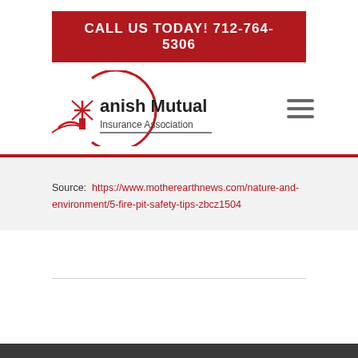CALL US TODAY! 712-764-5306
[Figure (logo): Danish Mutual Insurance Association logo with windmill graphic]
Source: https://www.motherearthnews.com/nature-and-environment/5-fire-pit-safety-tips-zbcz1504